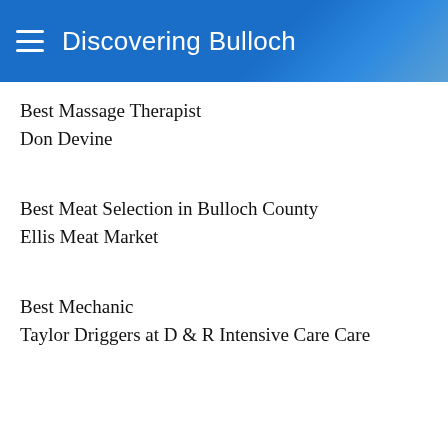Discovering Bulloch
Best Massage Therapist
Don Devine
Best Meat Selection in Bulloch County
Ellis Meat Market
Best Mechanic
Taylor Driggers at D & R Intensive Care Care